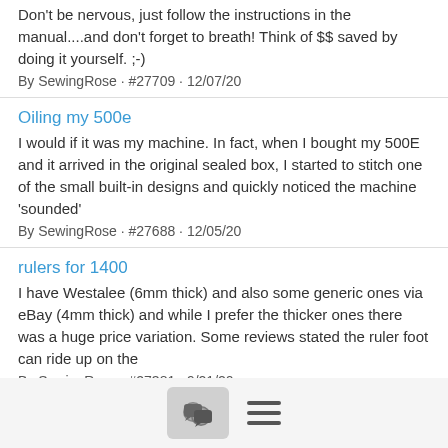Don't be nervous, just follow the instructions in the manual....and don't forget to breath! Think of $$ saved by doing it yourself. ;-)
By SewingRose · #27709 · 12/07/20
Oiling my 500e
I would if it was my machine. In fact, when I bought my 500E and it arrived in the original sealed box, I started to stitch one of the small built-in designs and quickly noticed the machine 'sounded'
By SewingRose · #27688 · 12/05/20
rulers for 1400
I have Westalee (6mm thick) and also some generic ones via eBay (4mm thick) and while I prefer the thicker ones there was a huge price variation. Some reviews stated the ruler foot can ride up on the
By SewingRose · #27381 · 9/21/20
Janome 550e
Trying to think back to my first embroidery machine (currently